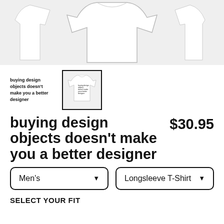[Figure (photo): Product photo of a white longsleeve t-shirt shown from front, with partial left and right sleeve views on either side]
[Figure (photo): Thumbnail text showing 'buying design objects doesn't make you a better designer' and thumbnail image of the longsleeve t-shirt]
buying design objects doesn't make you a better designer
$30.95
Men's
Longsleeve T-Shirt
SELECT YOUR FIT